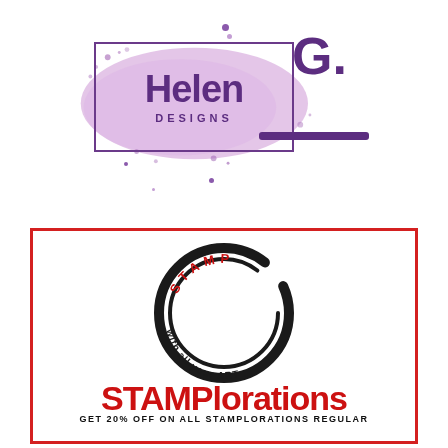[Figure (logo): Helen G. Designs logo — handwritten script 'Helen G.' in purple over a lavender paint splash, with 'DESIGNS' in spaced caps, inside a purple border rectangle]
[Figure (logo): STAMPlorations logo — circular stamp design with 'STAMP' arched on top and 'with all your ART' curved along the bottom, 'STAMPlorations' in large red distressed font in the center]
GET 20% OFF ON ALL STAMPLORATIONS REGULAR